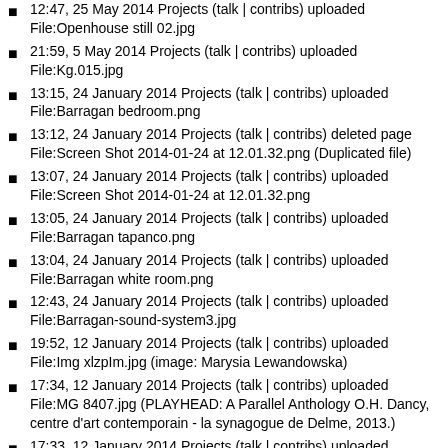12:47, 25 May 2014 Projects (talk | contribs) uploaded File:Openhouse still 02.jpg
21:59, 5 May 2014 Projects (talk | contribs) uploaded File:Kg.015.jpg
13:15, 24 January 2014 Projects (talk | contribs) uploaded File:Barragan bedroom.png
13:12, 24 January 2014 Projects (talk | contribs) deleted page File:Screen Shot 2014-01-24 at 12.01.32.png (Duplicated file)
13:07, 24 January 2014 Projects (talk | contribs) uploaded File:Screen Shot 2014-01-24 at 12.01.32.png
13:05, 24 January 2014 Projects (talk | contribs) uploaded File:Barragan tapanco.png
13:04, 24 January 2014 Projects (talk | contribs) uploaded File:Barragan white room.png
12:43, 24 January 2014 Projects (talk | contribs) uploaded File:Barragan-sound-system3.jpg
19:52, 12 January 2014 Projects (talk | contribs) uploaded File:Img xlzpIm.jpg (image: Marysia Lewandowska)
17:34, 12 January 2014 Projects (talk | contribs) uploaded File:MG 8407.jpg (PLAYHEAD: A Parallel Anthology O.H. Dancy, centre d'art contemporain - la synagogue de Delme, 2013.)
17:33, 12 January 2014 Projects (talk | contribs) uploaded File:MG 8401.jpg (PLAYHEAD: A Parallel Anthology O.H. Dancy, centre d'art contemporain - la synagogue de Delme, 2013.)